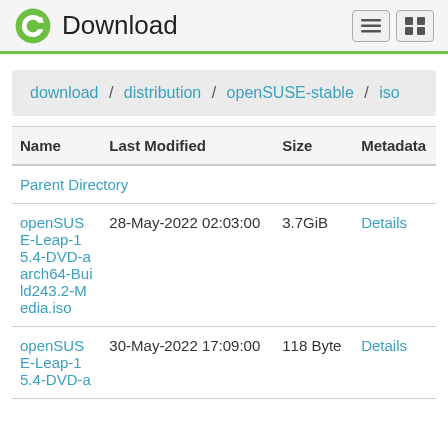Download
download / distribution / openSUSE-stable / iso
| Name | Last Modified | Size | Metadata |
| --- | --- | --- | --- |
| Parent Directory |  |  |  |
| openSUSE-Leap-15.4-DVD-aarch64-Build243.2-Media.iso | 28-May-2022 02:03:00 | 3.7GiB | Details |
| openSUSE-Leap-15.4-DVD-a | 30-May-2022 17:09:00 | 118 Byte | Details |